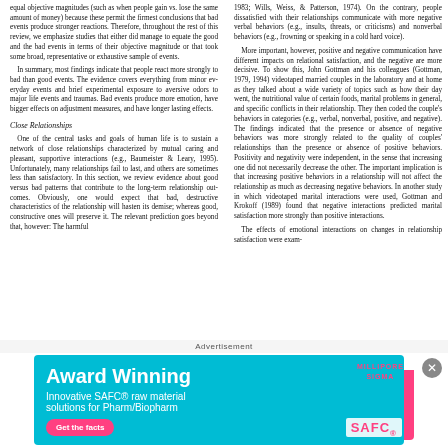equal objective magnitudes (such as when people gain vs. lose the same amount of money) because these permit the firmest conclusions that bad events produce stronger reactions. Therefore, throughout the rest of this review, we emphasize studies that either did manage to equate the good and the bad events in terms of their objective magnitude or that took some broad, representative or exhaustive sample of events.
In summary, most findings indicate that people react more strongly to bad than good events. The evidence covers everything from minor everyday events and brief experimental exposure to aversive odors to major life events and traumas. Bad events produce more emotion, have bigger effects on adjustment measures, and have longer lasting effects.
Close Relationships
One of the central tasks and goals of human life is to sustain a network of close relationships characterized by mutual caring and pleasant, supportive interactions (e.g., Baumeister & Leary, 1995). Unfortunately, many relationships fail to last, and others are sometimes less than satisfactory. In this section, we review evidence about good versus bad patterns that contribute to the long-term relationship outcomes. Obviously, one would expect that bad, destructive characteristics of the relationship will hasten its demise; whereas good, constructive ones will preserve it. The relevant prediction goes beyond that, however: The harmful
1983; Wills, Weiss, & Patterson, 1974). On the contrary, people dissatisfied with their relationships communicate with more negative verbal behaviors (e.g., insults, threats, or criticisms) and nonverbal behaviors (e.g., frowning or speaking in a cold hard voice).
More important, however, positive and negative communication have different impacts on relational satisfaction, and the negative are more decisive. To show this, John Gottman and his colleagues (Gottman, 1979, 1994) videotaped married couples in the laboratory and at home as they talked about a wide variety of topics such as how their day went, the nutritional value of certain foods, marital problems in general, and specific conflicts in their relationship. They then coded the couple's behaviors in categories (e.g., verbal, nonverbal, positive, and negative). The findings indicated that the presence or absence of negative behaviors was more strongly related to the quality of couples' relationships than the presence or absence of positive behaviors. Positivity and negativity were independent, in the sense that increasing one did not necessarily decrease the other. The important implication is that increasing positive behaviors in a relationship will not affect the relationship as much as decreasing negative behaviors. In another study in which videotaped marital interactions were used, Gottman and Krokoff (1989) found that negative interactions predicted marital satisfaction more strongly than positive interactions.
The effects of emotional interactions on changes in relationship satisfaction were exam-
Advertisement
[Figure (infographic): Advertisement for Millipore Sigma SAFC: Award Winning. Innovative SAFC raw material solutions for Pharm/Biopharm. Get the facts button. SAFC logo on pink background.]